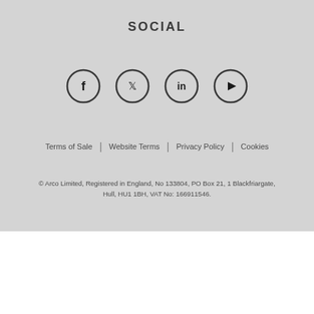SOCIAL
[Figure (infographic): Four social media icons in circles: Facebook (f), Twitter (bird), LinkedIn (in), YouTube (play button)]
Terms of Sale | Website Terms | Privacy Policy | Cookies
© Arco Limited, Registered in England, No 133804, PO Box 21, 1 Blackfriargate, Hull, HU1 1BH, VAT No: 166911546.